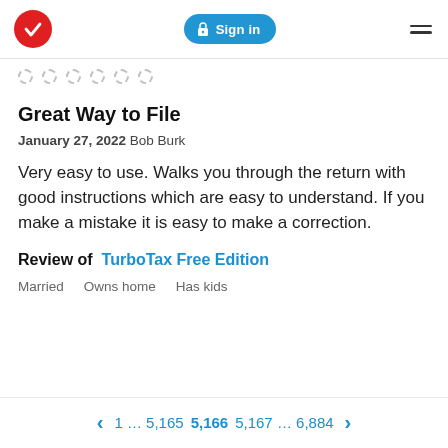Sign in
Great Way to File
January 27, 2022 Bob Burk
Very easy to use. Walks you through the return with good instructions which are easy to understand. If you make a mistake it is easy to make a correction.
Review of TurboTax Free Edition
Married  Owns home  Has kids
1 … 5,165 5,166 5,167 … 6,884